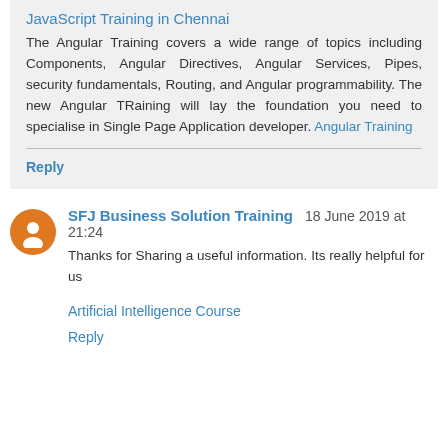JavaScript Training in Chennai
The Angular Training covers a wide range of topics including Components, Angular Directives, Angular Services, Pipes, security fundamentals, Routing, and Angular programmability. The new Angular TRaining will lay the foundation you need to specialise in Single Page Application developer. Angular Training
Reply
SFJ Business Solution Training  18 June 2019 at 21:24
Thanks for Sharing a useful information. Its really helpful for us
Artificial Intelligence Course
Reply